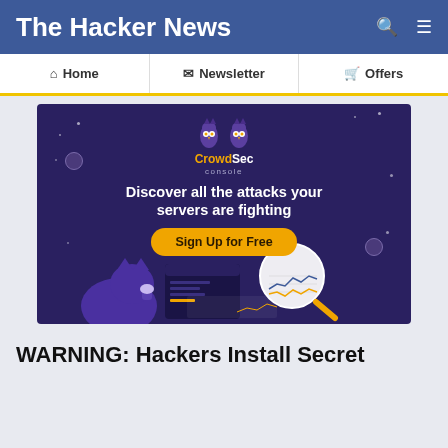The Hacker News
Home  Newsletter  Offers
[Figure (illustration): CrowdSec Console advertisement banner with dark purple background, showing two owl mascots, text 'Discover all the attacks your servers are fighting', a golden 'Sign Up for Free' button, and an illustration of a cat looking at a dashboard with a magnifying glass showing network charts.]
WARNING: Hackers Install Secret